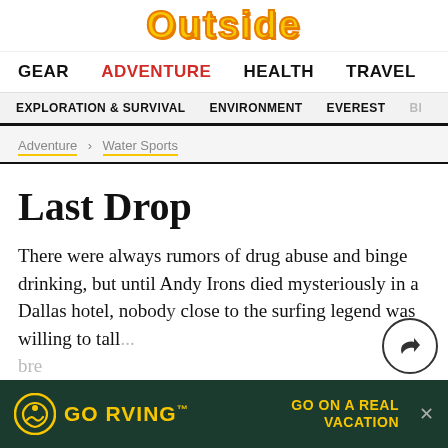Outside
GEAR   ADVENTURE   HEALTH   TRAVEL
EXPLORATION & SURVIVAL   ENVIRONMENT   EVEREST   BI...
Adventure > Water Sports
Last Drop
There were always rumors of drug abuse and binge drinking, but until Andy Irons died mysteriously in a Dallas hotel, nobody close to the surfing legend was willing to tall...  bre...
[Figure (screenshot): GO RVING advertisement banner with circular RV logo icon, yellow text 'GO RVING™' and tagline 'GO ON A REAL VACATION' on dark green background. Close button on right.]